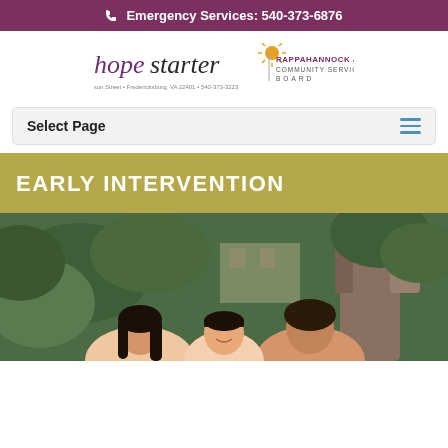Emergency Services: 540-373-6876
[Figure (logo): Hopestarter | Rappahannock Area Community Services Board logo with address: 600 Jackson Street, Fredericksburg, VA 22401, 540-373-3223]
Select Page
EARLY INTERVENTION
[Figure (photo): A family outdoors near a large tree with tropical foliage in the background. Two parents are kissing a young girl with Down syndrome on the cheeks, and the girl is smiling.]